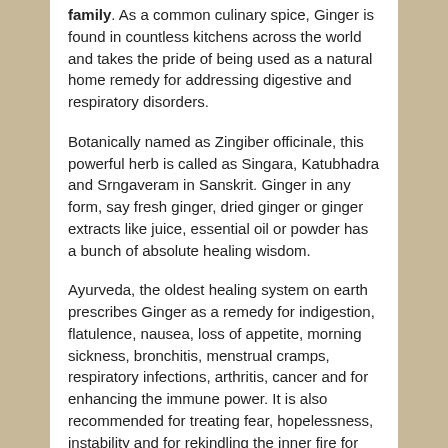family. As a common culinary spice, Ginger is found in countless kitchens across the world and takes the pride of being used as a natural home remedy for addressing digestive and respiratory disorders.
Botanically named as Zingiber officinale, this powerful herb is called as Singara, Katubhadra and Srngaveram in Sanskrit. Ginger in any form, say fresh ginger, dried ginger or ginger extracts like juice, essential oil or powder has a bunch of absolute healing wisdom.
Ayurveda, the oldest healing system on earth prescribes Ginger as a remedy for indigestion, flatulence, nausea, loss of appetite, morning sickness, bronchitis, menstrual cramps, respiratory infections, arthritis, cancer and for enhancing the immune power. It is also recommended for treating fear, hopelessness, instability and for rekindling the inner fire for ultimatum.
Purchase Ginger Oil – Retail – 1 oz – CLICK HERE